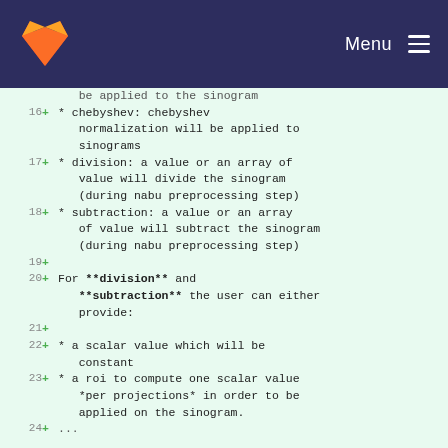GitLab logo / Menu
be applied to the sinogram
16 + * chebyshev: chebyshev normalization will be applied to sinograms
17 + * division: a value or an array of value will divide the sinogram (during nabu preprocessing step)
18 + * subtraction: a value or an array of value will subtract the sinogram (during nabu preprocessing step)
19 +
20 + For **division** and **subtraction** the user can either provide:
21 +
22 + * a scalar value which will be constant
23 + * a roi to compute one scalar value *per projections* in order to be applied on the sinogram.
24 + ...